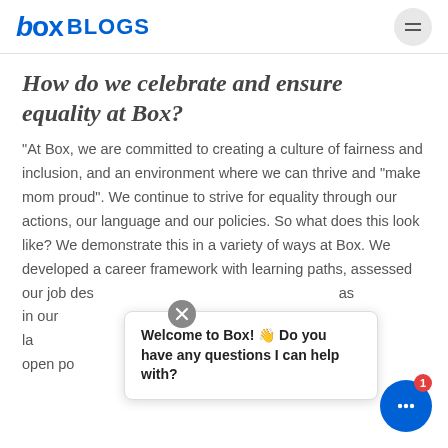box BLOGS
How do we celebrate and ensure equality at Box?
"At Box, we are committed to creating a culture of fairness and inclusion, and an environment where we can thrive and "make mom proud". We continue to strive for equality through our actions, our language and our policies. So what does this look like? We demonstrate this in a variety of ways at Box. We developed a career framework with learning paths, assessed our job descriptions as in our la open po
Welcome to Box! 👋 Do you have any questions I can help with?